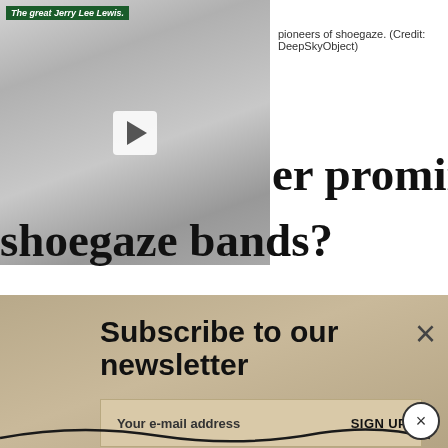[Figure (photo): Black and white photo of a smiling man (Jerry Lee Lewis) with a video play button overlay and green label reading 'The great Jerry Lee Lewis.']
pioneers of shoegaze. (Credit: DeepSkyObject)
er prominent shoegaze bands?
Subscribe to our newsletter
Your e-mail address   SIGN UP
Chapterhouse
Lush
Catherine Wheel
Swirlies
Bedhead